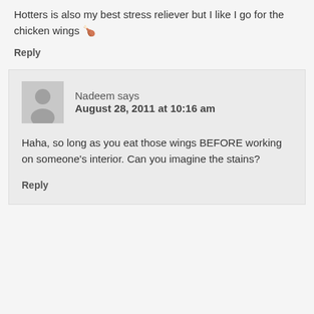Hotters is also my best stress reliever but I like I go for the chicken wings 🍗
Reply
Nadeem says
August 28, 2011 at 10:16 am
Haha, so long as you eat those wings BEFORE working on someone's interior. Can you imagine the stains?
Reply